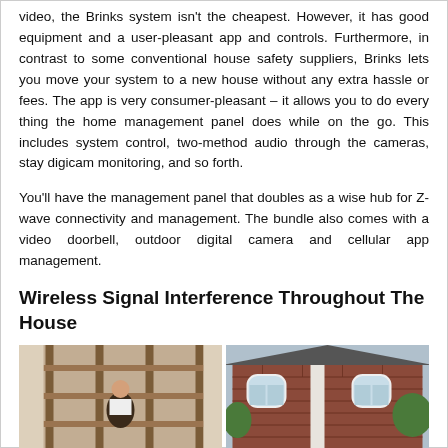video, the Brinks system isn't the cheapest. However, it has good equipment and a user-pleasant app and controls. Furthermore, in contrast to some conventional house safety suppliers, Brinks lets you move your system to a new house without any extra hassle or fees. The app is very consumer-pleasant – it allows you to do every thing the home management panel does while on the go. This includes system control, two-method audio through the cameras, stay digicam monitoring, and so forth.
You'll have the management panel that doubles as a wise hub for Z-wave connectivity and management. The bundle also comes with a video doorbell, outdoor digital camera and cellular app management.
Wireless Signal Interference Throughout The House
[Figure (photo): Two side-by-side photos: left shows a person indoors near wooden shelving/furniture; right shows the exterior of a brick house with white-trimmed arched windows.]